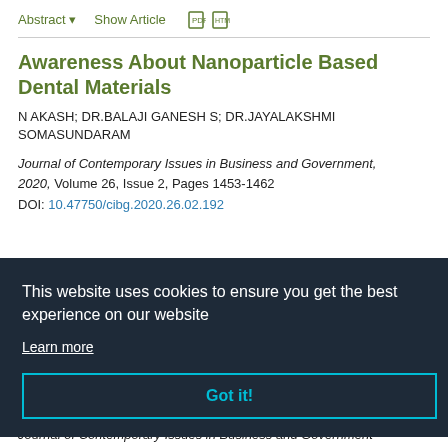Abstract  Show Article
Awareness About Nanoparticle Based Dental Materials
N AKASH; DR.BALAJI GANESH S; DR.JAYALAKSHMI SOMASUNDARAM
Journal of Contemporary Issues in Business and Government, 2020, Volume 26, Issue 2, Pages 1453-1462
DOI: 10.47750/cibg.2020.26.02.192
This website uses cookies to ensure you get the best experience on our website
Learn more
Got it!
Journal of Contemporary Issues in Business and Government